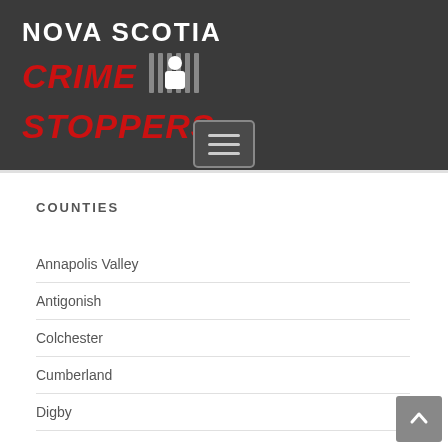[Figure (logo): Nova Scotia Crime Stoppers logo with red italic text on dark grey background, with prison bars graphic and figure silhouette]
COUNTIES
Annapolis Valley
Antigonish
Colchester
Cumberland
Digby